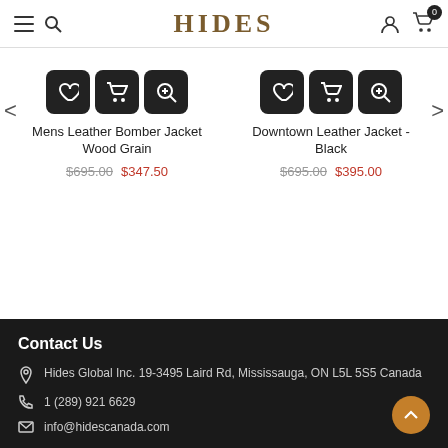HIDES
[Figure (screenshot): Two product cards: Mens Leather Bomber Jacket Wood Grain ($695.00, $347.50) and Downtown Leather Jacket - Black ($695.00, $395.00), each with heart, cart, and zoom action buttons]
Mens Leather Bomber Jacket Wood Grain
$695.00 $347.50
Downtown Leather Jacket - Black
$695.00 $395.00
Contact Us
Hides Global Inc. 19-3495 Laird Rd, Mississauga, ON L5L 5S5 Canada
1 (289) 921 6629
info@hidescanada.com